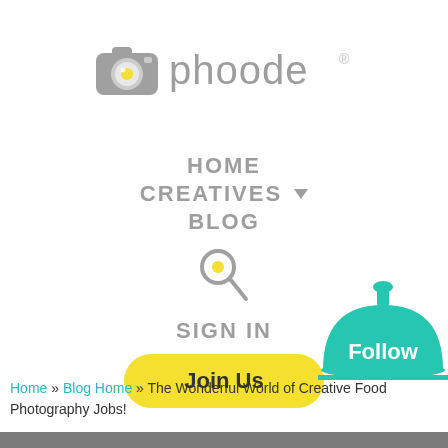[Figure (logo): Phoode logo: camera icon with yellow lens and text 'phoode' with registered trademark symbol]
HOME
CREATIVES ▼
BLOG
[Figure (other): Search magnifying glass icon with yellow center dot]
SIGN IN
[Figure (other): Yellow 'Join Us' button]
[Figure (other): Teal/mint Follow widget: serving dome icon with 'Follow' text]
Home » Blog Home » The Wonderful World of Creative Food Photography Jobs!